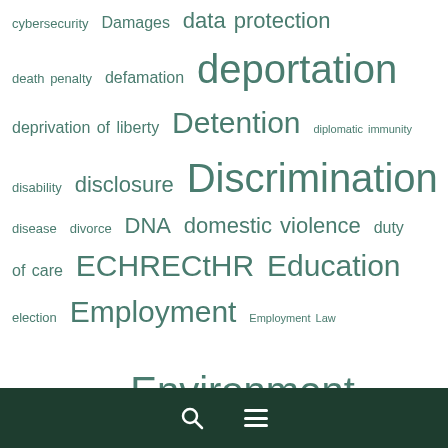cybersecurity Damages data protection death penalty defamation deportation deprivation of liberty Detention diplomatic immunity disability disclosure Discrimination disease divorce DNA domestic violence duty of care ECHR ECtHR Education election Employment Employment Law Employment Tribunal Environment Equality Act Ethiopia EU EU Charter of Fundamental Rights EU costs EU law European Court of Justice evidence extradition extraordinary rendition Family Fertility FGM Finance football foreign criminals foreign office France freedom of assembly Freedom of Expression freedom of information freedom of
🔍 ☰